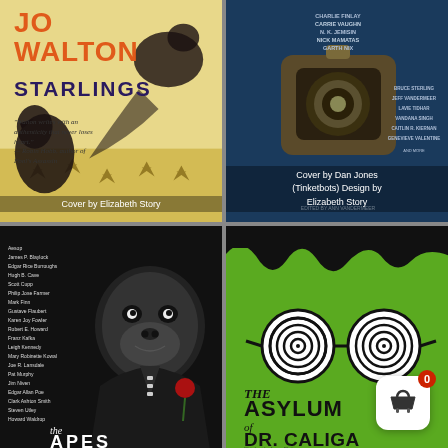[Figure (illustration): Book cover: Jo Walton Starlings, yellow/golden background with dark ravens/starlings, orange and dark purple title text. Caption: Cover by Elizabeth Story]
Cover by Elizabeth Story
[Figure (illustration): Book cover: Steampunk anthology with dark blue background, mechanical camera/robot face, list of author names in metallic text. Caption: Cover by Dan Jones (Tinketbots) Design by Elizabeth Story]
Cover by Dan Jones (Tinketbots) Design by Elizabeth Story
[Figure (illustration): Book cover: The Apes, black background with illustrated chimpanzee in suit holding a rose, white list of authors on left side.]
[Figure (illustration): Book cover: The Asylum of Dr. Caligari, bright green background with black spiral hypno-glasses graphic and bold black title text. Shopping basket badge with 0 count visible.]